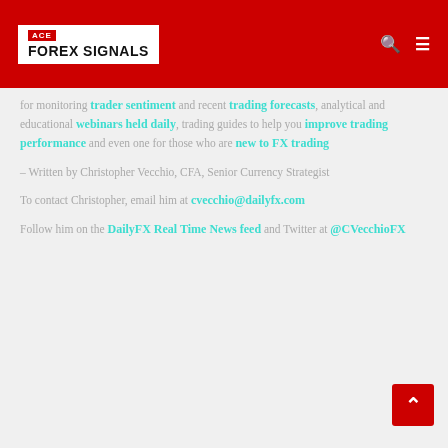[Figure (logo): Ace Forex Signals logo in white box with red ACE badge and bold black text FOREX SIGNALS]
trader sentiment trading forecasts analytical and educational webinars held daily trading guides to help you improve trading performance and even one for those who are new to FX trading
– Written by Christopher Vecchio, CFA, Senior Currency Strategist
To contact Christopher, email him at cvecchio@dailyfx.com
Follow him on the DailyFX Real Time News feed and Twitter at @CVecchioFX